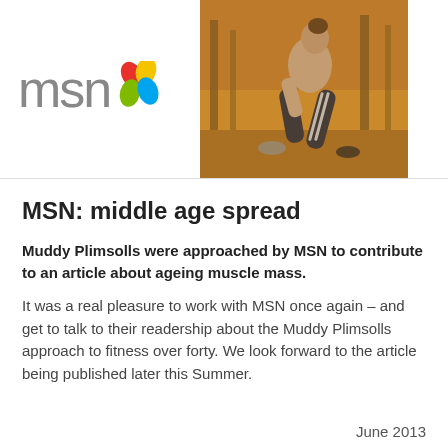[Figure (logo): MSN logo with colorful butterfly/leaf icon in red, yellow, green, blue]
[Figure (photo): Person doing a lunge stretch outdoors in a park setting with trees in background, wearing tracksuit]
MSN: middle age spread
Muddy Plimsolls were approached by MSN to contribute to an article about ageing muscle mass.
It was a real pleasure to work with MSN once again – and get to talk to their readership about the Muddy Plimsolls approach to fitness over forty. We look forward to the article being published later this Summer.
June 2013